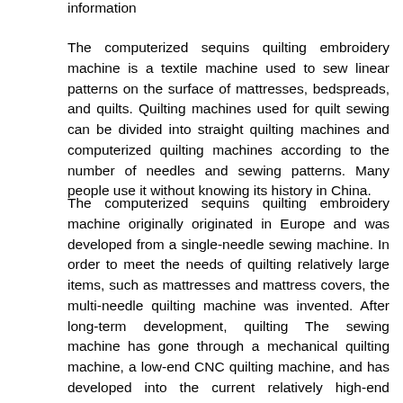information
The computerized sequins quilting embroidery machine is a textile machine used to sew linear patterns on the surface of mattresses, bedspreads, and quilts. Quilting machines used for quilt sewing can be divided into straight quilting machines and computerized quilting machines according to the number of needles and sewing patterns. Many people use it without knowing its history in China.
The computerized sequins quilting embroidery machine originally originated in Europe and was developed from a single-needle sewing machine. In order to meet the needs of quilting relatively large items, such as mattresses and mattress covers, the multi-needle quilting machine was invented. After long-term development, quilting The sewing machine has gone through a mechanical quilting machine, a low-end CNC quilting machine, and has developed into the current relatively high-end computer quilting machine. The current quilting machine is mostly divided into a computer shuttleless multi-needle quilting machine, and a computer has a shuttle multi-needle Quilting machine, computerized multi-head quilting embroidery machine and various specifications. Compared with the traditional mechanical quilting machine, it